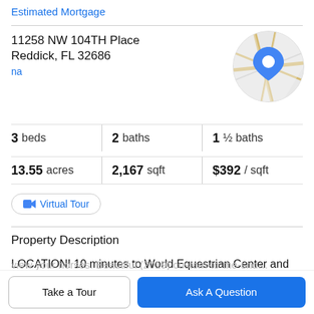Estimated Mortgage
11258 NW 104TH Place
Reddick, FL 32686
na
[Figure (map): Circular map thumbnail with blue location pin marker]
3 beds   2 baths   1 ½ baths
13.55 acres   2,167 sqft   $392 / sqft
Virtual Tour
Property Description
LOCATION! 10 minutes to World Equestrian Center and only 3 miles to HITS horse show. At the heart of northwest
Take a Tour
Ask A Question